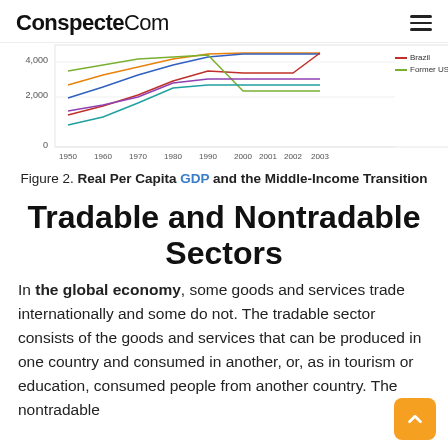ConspecteCom
[Figure (line-chart): Partial view of a line chart showing Real Per Capita GDP over time from approximately 1950 to 2003, with multiple colored lines for different countries. Legend visible showing Brazil (red) and Former USSR (green). Y-axis shows values 0, 2,000, 4,000. X-axis shows years 1950, 1960, 1970, 1980, 1990, 2000, 2001, 2002, 2003.]
Figure 2. Real Per Capita GDP and the Middle-Income Transition
Tradable and Nontradable Sectors
In the global economy, some goods and services trade internationally and some do not. The tradable sector consists of the goods and services that can be produced in one country and consumed in another, or, as in tourism or education, consumed people from another country. The nontradable